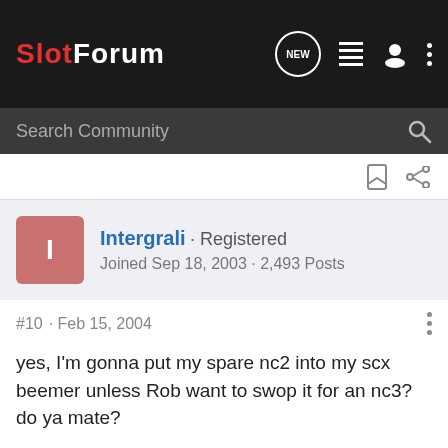SlotForum
Search Community
Intergrali · Registered
Joined Sep 18, 2003 · 2,493 Posts
#10 · Feb 15, 2004
yes, I'm gonna put my spare nc2 into my scx beemer unless Rob want to swop it for an nc3? do ya mate?

Rob.
p.s got some stuff to tell ya but I've forgotten, oh bring your lighted ninco on monday umm I'm sure there were a few other things oh yeah, I might not run ma vectra in dtm  I've found summat else just need to check up, otherwise I'm gonna wrap it